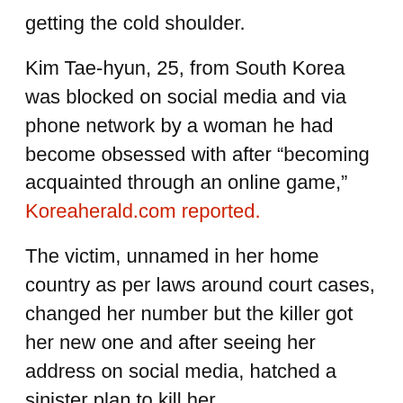getting the cold shoulder.
Kim Tae-hyun, 25, from South Korea was blocked on social media and via phone network by a woman he had become obsessed with after “becoming acquainted through an online game,” Koreaherald.com reported.
The victim, unnamed in her home country as per laws around court cases, changed her number but the killer got her new one and after seeing her address on social media, hatched a sinister plan to kill her.
Beforehand, he searched things on the internet like ‘Emergency places to hide’ and ‘How to kill a person quickly’.